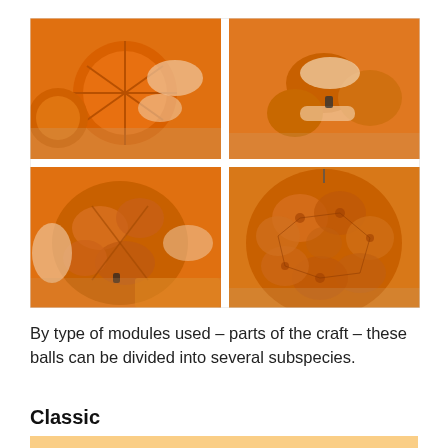[Figure (photo): A 2x2 grid of four photos showing hands assembling an orange origami modular ball. Top-left: hands holding orange folded paper modules arranged in a circular pinwheel pattern on a wooden table. Top-right: fingers pinching and connecting orange paper modules with a clip. Bottom-left: hands holding a partially assembled orange 3D paper ball. Bottom-right: a completed orange origami modular sphere resting on a wooden surface.]
By type of modules used – parts of the craft – these balls can be divided into several subspecies.
Classic